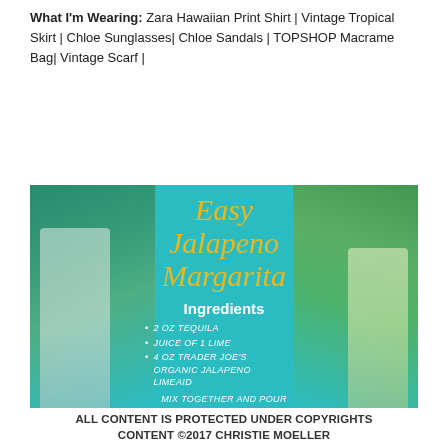What I'm Wearing: Zara Hawaiian Print Shirt | Vintage Tropical Skirt | Chloe Sunglasses| Chloe Sandals | TOPSHOP Macrame Bag| Vintage Scarf |
[Figure (infographic): Recipe card with teal background showing 'Easy Jalapeno Margarita' in gold italic script, with Ingredients section listing: 2 OZ TEQUILA, JUICE OF 1 LIME, 4 OZ TRADER JOE'S ORGANIC JALAPENO LIMEAID, MIX TOGETHER AND POUR OVER ICE. Photo panels of tequila bottles and green leaves on left and right sides.]
ALL CONTENT IS PROTECTED UNDER COPYRIGHTS CONTENT ©2017 CHRISTIE MOELLER